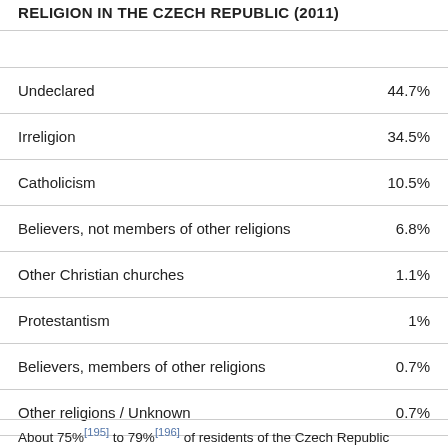RELIGION IN THE CZECH REPUBLIC (2011)
| Religion | Percentage |
| --- | --- |
| Undeclared | 44.7% |
| Irreligion | 34.5% |
| Catholicism | 10.5% |
| Believers, not members of other religions | 6.8% |
| Other Christian churches | 1.1% |
| Protestantism | 1% |
| Believers, members of other religions | 0.7% |
| Other religions / Unknown | 0.7% |
About 75%[195] to 79%[196] of residents of the Czech Republic